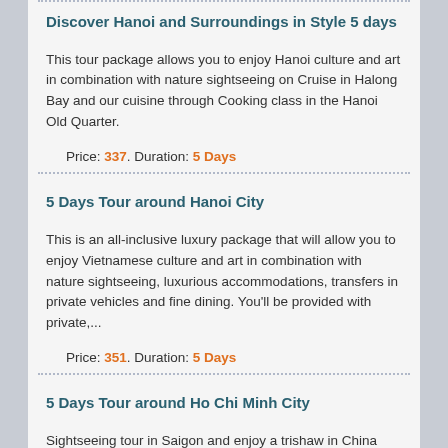Discover Hanoi and Surroundings in Style 5 days
This tour package allows you to enjoy Hanoi culture and art in combination with nature sightseeing on Cruise in Halong Bay and our cuisine through Cooking class in the Hanoi Old Quarter.
Price: 337. Duration: 5 Days
5 Days Tour around Hanoi City
This is an all-inclusive luxury package that will allow you to enjoy Vietnamese culture and art in combination with nature sightseeing, luxurious accommodations, transfers in private vehicles and fine dining. You'll be provided with private,...
Price: 351. Duration: 5 Days
5 Days Tour around Ho Chi Minh City
Sightseeing tour in Saigon and enjoy a trishaw in China Town, take a sampan cruising along the